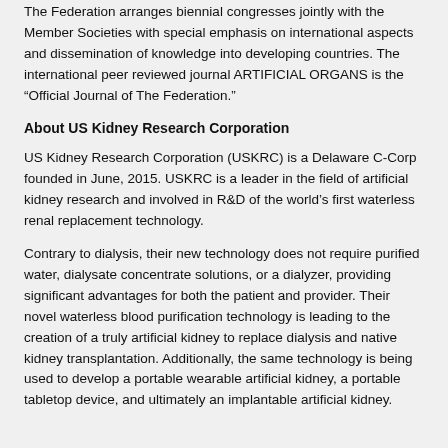The Federation arranges biennial congresses jointly with the Member Societies with special emphasis on international aspects and dissemination of knowledge into developing countries. The international peer reviewed journal ARTIFICIAL ORGANS is the “Official Journal of The Federation.”
About US Kidney Research Corporation
US Kidney Research Corporation (USKRC) is a Delaware C-Corp founded in June, 2015. USKRC is a leader in the field of artificial kidney research and involved in R&D of the world’s first waterless renal replacement technology.
Contrary to dialysis, their new technology does not require purified water, dialysate concentrate solutions, or a dialyzer, providing significant advantages for both the patient and provider. Their novel waterless blood purification technology is leading to the creation of a truly artificial kidney to replace dialysis and native kidney transplantation. Additionally, the same technology is being used to develop a portable wearable artificial kidney, a portable tabletop device, and ultimately an implantable artificial kidney.